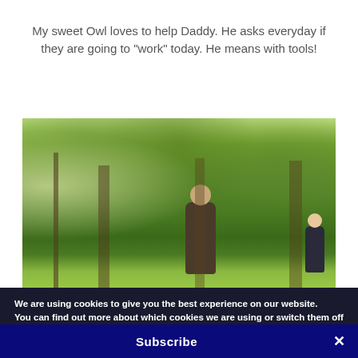My sweet Owl loves to help Daddy. He asks everyday if they are going to "work" today. He means with tools!
[Figure (photo): Outdoor photo of a man and a child working together in a green yard with trees in the background. The man is holding a long tool handle and the child is following behind.]
We are using cookies to give you the best experience on our website.
You can find out more about which cookies we are using or switch them off in settings.
Subscribe